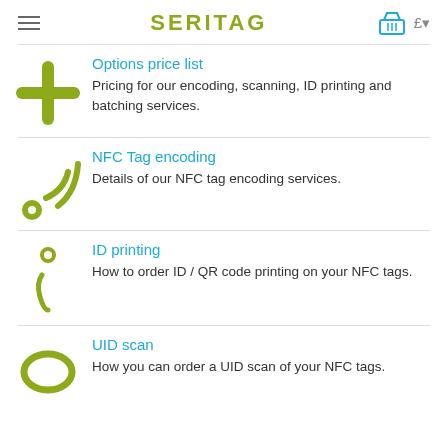SERITAG
Options price list
Pricing for our encoding, scanning, ID printing and batching services.
NFC Tag encoding
Details of our NFC tag encoding services.
ID printing
How to order ID / QR code printing on your NFC tags.
UID scan
How you can order a UID scan of your NFC tags.